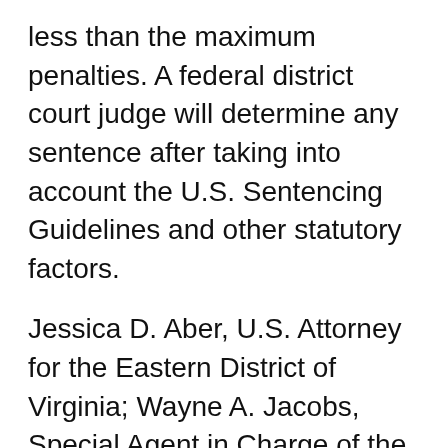less than the maximum penalties. A federal district court judge will determine any sentence after taking into account the U.S. Sentencing Guidelines and other statutory factors.
Jessica D. Aber, U.S. Attorney for the Eastern District of Virginia; Wayne A. Jacobs, Special Agent in Charge of the FBI Washington Field Office Criminal Division; and William P. Hicks II, Special Agent in Charge, Coast Guard Investigative Service, Chesapeake Region, made the announcement afte[GO TO TOP]